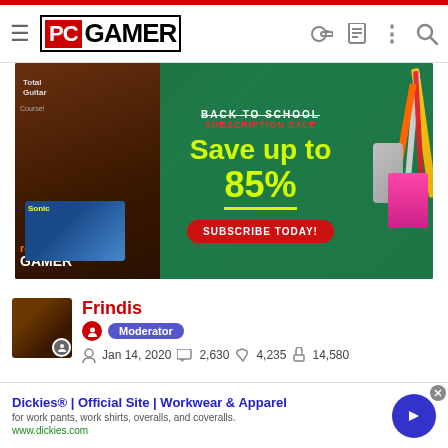PC GAMER
[Figure (photo): PC Gamer / magazine subscription sale advertisement banner. Green chalkboard background with school supplies. Text: BACK TO SCHOOL SUBSCRIPTION SALE - Save up to 85% - SUBSCRIBE TODAY!]
Frindis
Moderator
Jan 14, 2020   2,630   4,235   14,580
[Figure (infographic): Row of user action/game achievement icons]
[Figure (infographic): Bottom advertisement: Dickies® | Official Site | Workwear & Apparel. for work pants, work shirts, overalls, and coveralls. www.dickies.com]